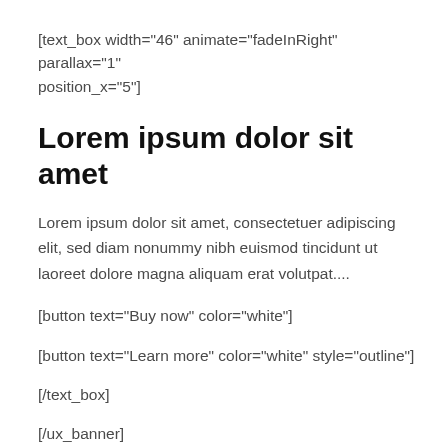[text_box width="46" animate="fadeInRight" parallax="1" position_x="5"]
Lorem ipsum dolor sit amet
Lorem ipsum dolor sit amet, consectetuer adipiscing elit, sed diam nonummy nibh euismod tincidunt ut laoreet dolore magna aliquam erat volutpat....
[button text="Buy now" color="white"]
[button text="Learn more" color="white" style="outline"]
[/text_box]
[/ux_banner]
[/ux_slider]